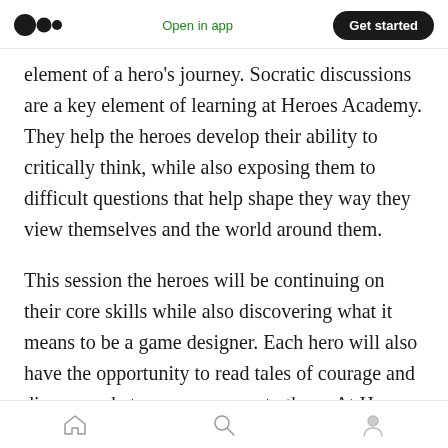Medium logo | Open in app | Get started
element of a hero's journey. Socratic discussions are a key element of learning at Heroes Academy. They help the heroes develop their ability to critically think, while also exposing them to difficult questions that help shape they way they view themselves and the world around them.
This session the heroes will be continuing on their core skills while also discovering what it means to be a game designer. Each hero will also have the opportunity to read tales of courage and discover what courage means to them. At Heroes Academy, we believe each hero should
Home | Search | Profile